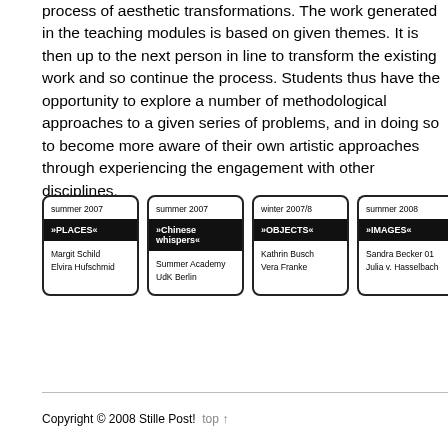process of aesthetic transformations. The work generated in the teaching modules is based on given themes. It is then up to the next person in line to transform the existing work and so continue the process. Students thus have the opportunity to explore a number of methodological approaches to a given series of problems, and in doing so to become more aware of their own artistic approaches through experiencing the engagement with other disciplines.
[Figure (infographic): Four cards showing teaching modules: summer 2007 »PLACES« (Margit Schild, Elvira Hufschmid), summer 2007 »Chinese whispers« (Summer Academy, UdK Berlin), winter 2007/8 »OBJECTS« (Kathrin Busch, Vera Franke), summer 2008 »IMAGES« (Sandra Becker 01, Julia v. Hasselbach)]
Copyright © 2008 Stille Post!  top ↑